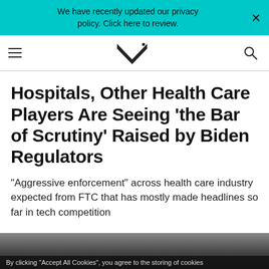We have recently updated our privacy policy. Click here to review.
[Figure (logo): MedCity News logo navigation bar with hamburger menu, M-check logo, and search icon]
Hospitals, Other Health Care Players Are Seeing ‘the Bar of Scrutiny’ Raised by Biden Regulators
"Aggressive enforcement" across health care industry expected from FTC that has mostly made headlines so far in tech competition
[Figure (photo): Partial photo at bottom of page, dark/blurred]
By clicking “Accept All Cookies”, you agree to the storing of cookies